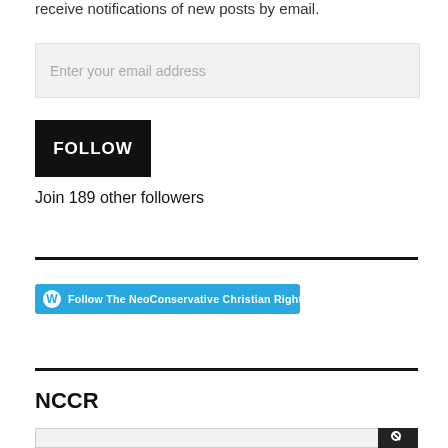receive notifications of new posts by email.
Enter your email address
FOLLOW
Join 189 other followers
[Figure (other): WordPress Follow button: blue rounded rectangle with WordPress icon and text 'Follow The NeoConservative Christian Right']
NCCR
Search bar at bottom